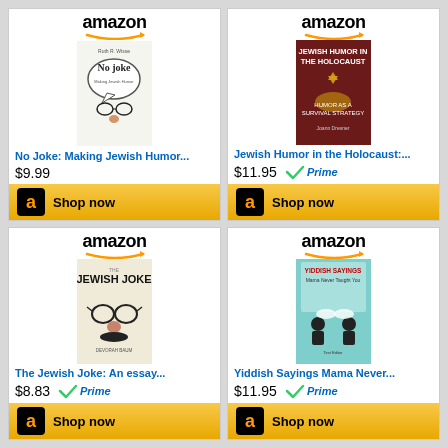[Figure (screenshot): Amazon product card for 'No Joke: Making Jewish Humor...' priced at $9.99 with Shop now button]
[Figure (screenshot): Amazon product card for 'Jewish Humor in the Holocaust:...' priced at $11.95 with Prime badge and Shop now button]
[Figure (screenshot): Amazon product card for 'The Jewish Joke: An essay...' priced at $8.83 with Prime badge and Shop now button]
[Figure (screenshot): Amazon product card for 'Yiddish Sayings Mama Never...' priced at $11.95 with Prime badge and Shop now button]